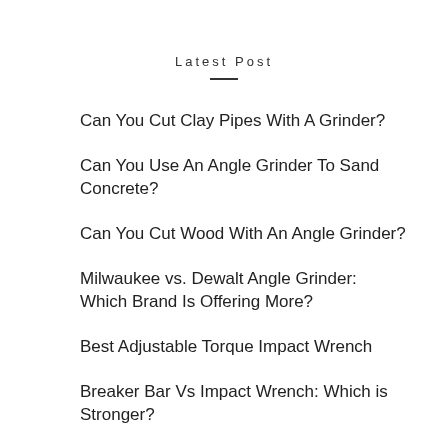Latest Post
Can You Cut Clay Pipes With A Grinder?
Can You Use An Angle Grinder To Sand Concrete?
Can You Cut Wood With An Angle Grinder?
Milwaukee vs. Dewalt Angle Grinder: Which Brand Is Offering More?
Best Adjustable Torque Impact Wrench
Breaker Bar Vs Impact Wrench: Which is Stronger?
How to Convert a Drill Press to a Milling Machine